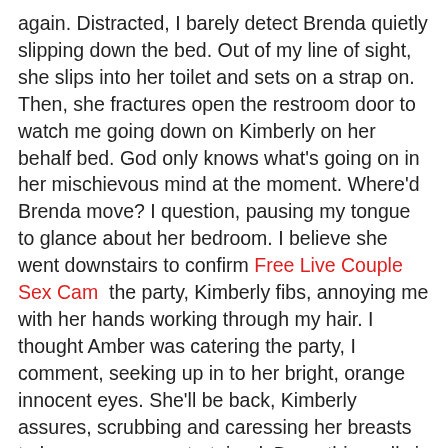again. Distracted, I barely detect Brenda quietly slipping down the bed. Out of my line of sight, she slips into her toilet and sets on a strap on. Then, she fractures open the restroom door to watch me going down on Kimberly on her behalf bed. God only knows what's going on in her mischievous mind at the moment. Where'd Brenda move? I question, pausing my tongue to glance about her bedroom. I believe she went downstairs to confirm Free Live Couple Sex Cam  the party, Kimberly fibs, annoying me with her hands working through my hair. I thought Amber was catering the party, I comment, seeking up in to her bright, orange innocent eyes. She'll be back, Kimberly assures, scrubbing and caressing her breasts to keep my eyes entertained. Darn, this really is too simple, Brenda blurts, flinging the restroom home spacious, wearing an enormous, realistic- seeking tie on. What the -, I exclaim, snatching my head about, staring at the tie on Brenda's wearing. Hahaha....... The look on see your face is fucking expensive, Brenda cracks, moving on the bed, laughing. Brenda's laughter infects Kimberly and she bursts out laughing, too. I can't help but to giggle proper alongside them. Between both of these, they've managed to shock me with something that I